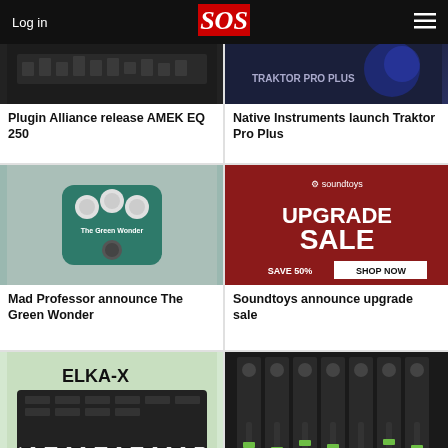Log in | SOS | ☰
[Figure (photo): Plugin Alliance AMEK EQ 250 plugin screenshot]
Plugin Alliance release AMEK EQ 250
[Figure (photo): Native Instruments Traktor Pro Plus screenshot]
Native Instruments launch Traktor Pro Plus
[Figure (photo): Mad Professor The Green Wonder guitar pedal]
Mad Professor announce The Green Wonder
[Figure (photo): Soundtoys upgrade sale advertisement - Save 50% Shop Now]
Soundtoys announce upgrade sale
[Figure (photo): ELKA-X synthesizer keyboard]
[Figure (photo): Digital mixer console with faders]